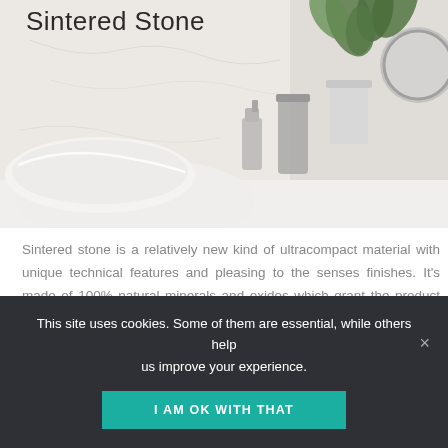[Figure (photo): Bathroom countertop scene showing a white ceramic basin, soap dispenser, tall cylindrical container with greenery, and a round mirror, all on a white sintered stone surface. 'Sintered Stone' text overlaid at top left.]
Sintered Stone
Sintered stone is a relatively new kind of ultracompact material with unique technical features and pleasing to the senses finishes. It's made of 100% natural minerals and oxides which grant the product hardness, strength and chemical stability. UV resistant, can be used outdoors. Sintered stone slabs are available in 3mm and 6mm too, ideal for cladding custom made bathroom joinery, kitchen cabinet doors and other bespoke furniture.
This site uses cookies. Some of them are essential, while others help us improve your experience.
I AM OK WITH THAT